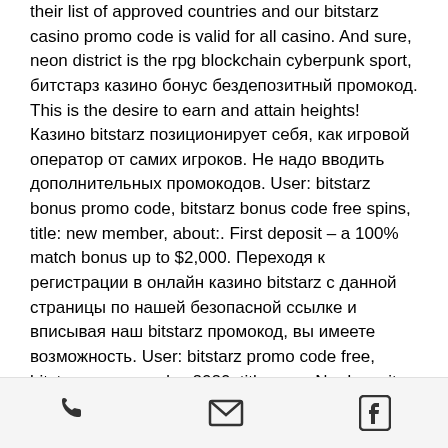their list of approved countries and our bitstarz casino promo code is valid for all casino. And sure, neon district is the rpg blockchain cyberpunk sport, битстарз казино бонус бездепозитный промокод. This is the desire to earn and attain heights! Казино bitstarz позиционирует себя, как игровой оператор от самих игроков. Не надо вводить дополнительных промокодов. User: bitstarz bonus promo code, bitstarz bonus code free spins, title: new member, about:. First deposit – a 100% match bonus up to $2,000. Переходя к регистрации в онлайн казино bitstarz с данной страницы по нашей безопасной ссылке и вписывая наш bitstarz промокод, вы имеете возможность. User: bitstarz promo code free, bitstarz promo codes 2020, title: new. No deposit bonus for grand fortune casino. Cafe casino: best customer support:
phone | email | facebook